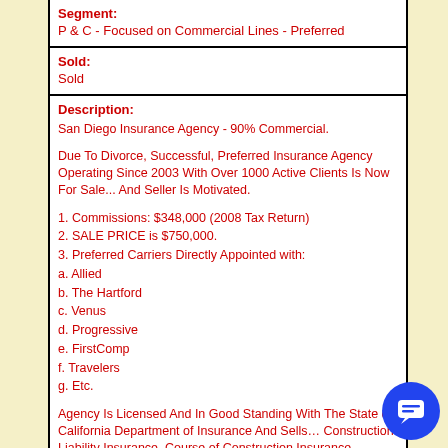| Segment: | P & C - Focused on Commercial Lines - Preferred |
| Sold: | Sold |
Description:
San Diego Insurance Agency - 90% Commercial.

Due To Divorce, Successful, Preferred Insurance Agency Operating Since 2003 With Over 1000 Active Clients Is Now For Sale... And Seller Is Motivated.

1. Commissions: $348,000 (2008 Tax Return)
2. SALE PRICE is $750,000.
3. Preferred Carriers Directly Appointed with:
a. Allied
b. The Hartford
c. Venus
d. Progressive
e. FirstComp
f. Travelers
g. Etc.

Agency Is Licensed And In Good Standing With The State of California Department of Insurance And Sells… Construction Liability Insurance, Course of Construction Insurance , General Liability , Insurance, Construction General Liability Insurance , Construction Wrap Insurance, Restaurant General, Liability Insurance, Garage Liability Insurance, Business Automobile Insurance, Workers Compensation Insurance, Homeowners Insurance, Auto Insurance, Boat and Recreational Vehicle